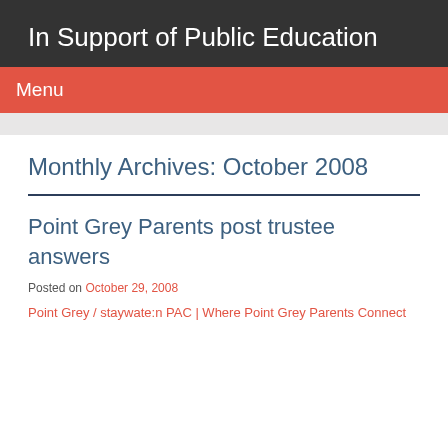In Support of Public Education
Menu
Monthly Archives: October 2008
Point Grey Parents post trustee answers
Posted on October 29, 2008
Point Grey / staywate:n PAC | Where Point Grey Parents Connect